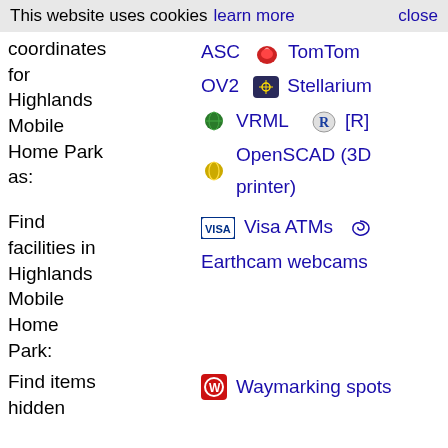This website uses cookies  learn more  close
coordinates for Highlands Mobile Home Park as:
ASC  TomTom
OV2  Stellarium
VRML  [R]
OpenSCAD (3D printer)
Find facilities in Highlands Mobile Home Park:
Visa ATMs  Earthcam webcams
Find items hidden near Highlands Mobile Home Park:
Waymarking spots
Images of